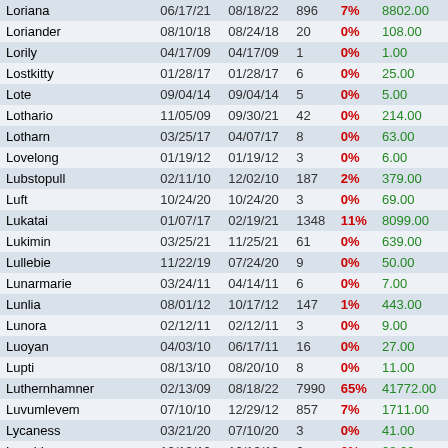| Name | Date1 | Date2 | Num | Pct | Amount |
| --- | --- | --- | --- | --- | --- |
| Loriana | 06/17/21 | 08/18/22 | 896 | 7% | 8802.00 |
| Loriander | 08/10/18 | 08/24/18 | 20 | 0% | 108.00 |
| Lorily | 04/17/09 | 04/17/09 | 1 | 0% | 1.00 |
| Lostkitty | 01/28/17 | 01/28/17 | 6 | 0% | 25.00 |
| Lote | 09/04/14 | 09/04/14 | 5 | 0% | 5.00 |
| Lothario | 11/05/09 | 09/30/21 | 42 | 0% | 214.00 |
| Lotharn | 03/25/17 | 04/07/17 | 8 | 0% | 63.00 |
| Lovelong | 01/19/12 | 01/19/12 | 3 | 0% | 6.00 |
| Lubstopull | 02/11/10 | 12/02/10 | 187 | 2% | 379.00 |
| Luft | 10/24/20 | 10/24/20 | 3 | 0% | 69.00 |
| Lukatai | 01/07/17 | 02/19/21 | 1348 | 11% | 8099.00 |
| Lukimin | 03/25/21 | 11/25/21 | 61 | 0% | 639.00 |
| Lullebie | 11/22/19 | 07/24/20 | 9 | 0% | 50.00 |
| Lunarmarie | 03/24/11 | 04/14/11 | 6 | 0% | 7.00 |
| Lunlia | 08/01/12 | 10/17/12 | 147 | 1% | 443.00 |
| Lunora | 02/12/11 | 02/12/11 | 3 | 0% | 9.00 |
| Luoyan | 04/03/10 | 06/17/11 | 16 | 0% | 27.00 |
| Lupti | 08/13/10 | 08/20/10 | 8 | 0% | 11.00 |
| Luthernhamner | 02/13/09 | 08/18/22 | 7990 | 65% | 41772.00 |
| Luvumlevem | 07/10/10 | 12/29/12 | 857 | 7% | 1711.00 |
| Lycaness | 03/21/20 | 07/10/20 | 3 | 0% | 41.00 |
| Lyquid | 12/13/19 | 12/13/19 | 6 | 0% | 28.00 |
| Lyquidx | 12/27/12 | 12/27/12 | 4 | 0% | 11.00 |